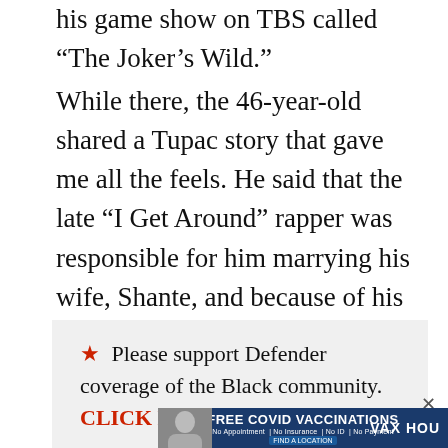his game show on TBS called “The Joker’s Wild.”
While there, the 46-year-old shared a Tupac story that gave me all the feels. He said that the late “I Get Around” rapper was responsible for him marrying his wife, Shante, and because of his advice, he grew to understand the value of a woman, specifically a black woman’s, love.
★ Please support Defender coverage of the Black community. CLICK HERE
[Figure (other): Advertisement banner for Free Covid Vaccinations: No Appointment, No Insurance, No ID, No Payment. Find a Location. VAX HOU. Features photo of a woman.]